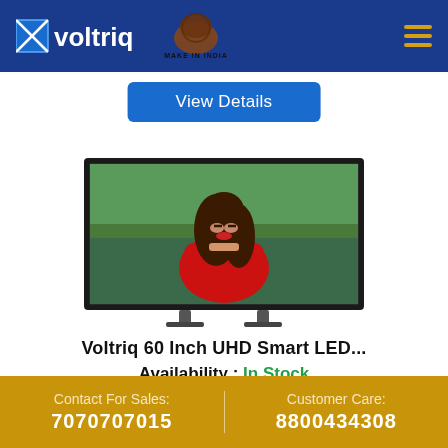Voltriq — Make in India header with navigation
View Details
[Figure (photo): Voltriq 60 Inch UHD Smart LED TV product image showing a woman in a red top on a TV display, with TV stand legs]
Voltriq 60 Inch UHD Smart LED...
Availability : In Stock
Offer Price : ₹ 108990
Contact For Sales: 7070707015 | Customer Care: 8800434308